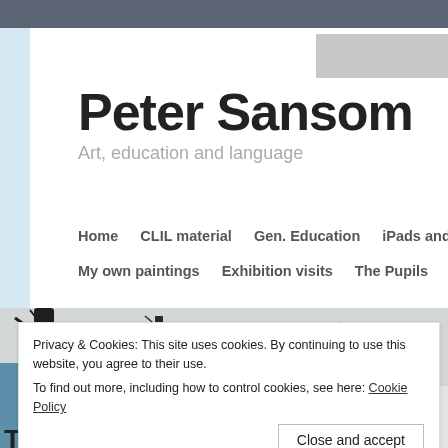Peter Sansom
Art, education and language
Home   CLIL material   Gen. Education   iPads and digi   My own paintings   Exhibition visits   The Pupils   Cont…
[Figure (photo): Hero image showing winter scene with bare black tree silhouettes against a grey snowy sky, white snow on ground, and a blue sculpture partially visible on the left edge.]
Privacy & Cookies: This site uses cookies. By continuing to use this website, you agree to their use.
To find out more, including how to control cookies, see here: Cookie Policy
Close and accept
Tag Archives: sculpture